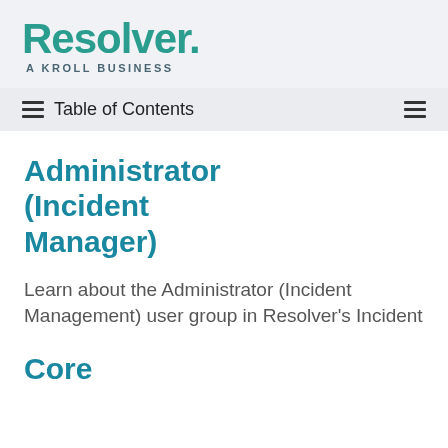[Figure (logo): Resolver. A KROLL BUSINESS logo in teal/green color]
Table of Contents
Administrator (Incident Manager)
Learn about the Administrator (Incident Management) user group in Resolver's Incident
Core